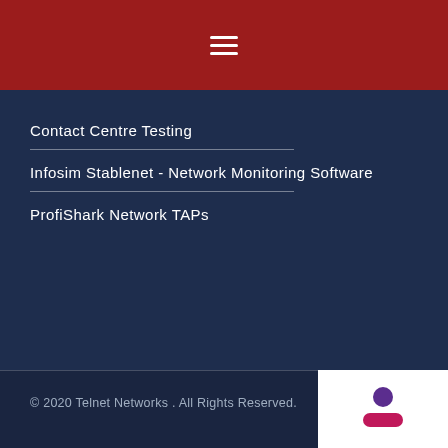[Figure (other): Hamburger menu icon (three horizontal white lines) on dark red header bar]
Contact Centre Testing
Infosim Stablenet - Network Monitoring Software
ProfiShark Network TAPs
© 2020 Telnet Networks . All Rights Reserved.
[Figure (logo): Partial logo visible at bottom right: purple circle above a red/magenta rounded rectangle on white background]